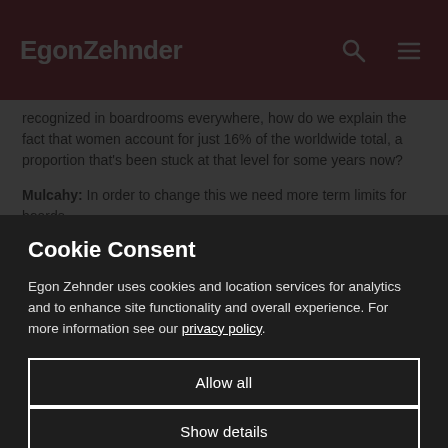EgonZehnder
recognized in boardrooms everywhere, how do we explain the fact that women account for just 16% of the worldwide total, a proportion that's been stuck at that level for some years now?
Mulcahy: In order to change this we need more term limits for boards.
Cookie Consent
Egon Zehnder uses cookies and location services for analytics and to enhance site functionality and overall experience. For more information see our privacy policy.
Allow all
Show details